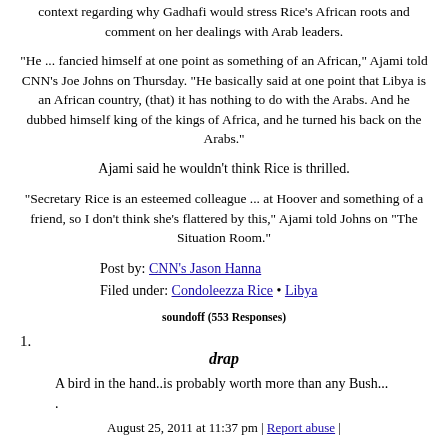context regarding why Gadhafi would stress Rice's African roots and comment on her dealings with Arab leaders.
"He ... fancied himself at one point as something of an African," Ajami told CNN's Joe Johns on Thursday. "He basically said at one point that Libya is an African country, (that) it has nothing to do with the Arabs. And he dubbed himself king of the kings of Africa, and he turned his back on the Arabs."
Ajami said he wouldn't think Rice is thrilled.
"Secretary Rice is an esteemed colleague ... at Hoover and something of a friend, so I don't think she's flattered by this," Ajami told Johns on "The Situation Room."
Post by: CNN's Jason Hanna
Filed under: Condoleezza Rice • Libya
soundoff (553 Responses)
1. drap
A bird in the hand..is probably worth more than any Bush... .
August 25, 2011 at 11:37 pm | Report abuse |